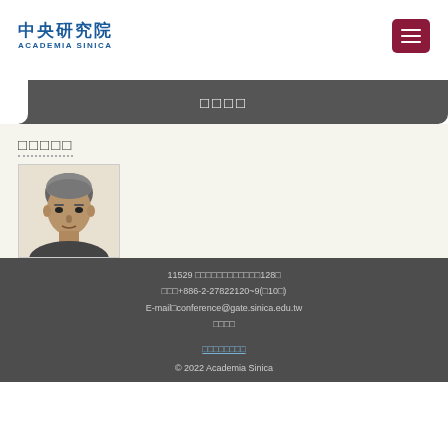中央研究院 ACADEMIA SINICA
□□□□
□□□□□
[Figure (photo): Headshot photo of a person with gray hair]
11529 □□□□□□□□□□□□128□
□□□+886-2-27822120~9(□10□)
E-mail□conference@gate.sinica.edu.tw
□□□□
□□□□□□□□
© 2022 Academia Sinica